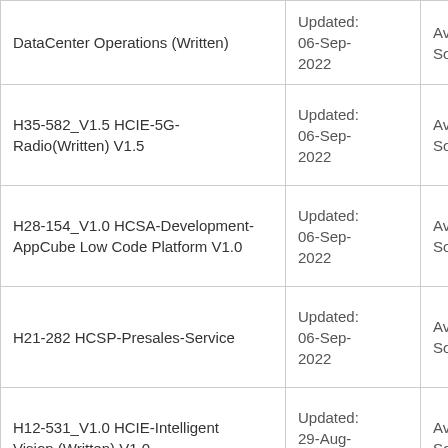| Exam Name | Updated | Status |
| --- | --- | --- |
| DataCenter Operations (Written) | Updated: 06-Sep-2022 | Available Soon |
| H35-582_V1.5 HCIE-5G-Radio(Written) V1.5 | Updated: 06-Sep-2022 | Available Soon |
| H28-154_V1.0 HCSA-Development-AppCube Low Code Platform V1.0 | Updated: 06-Sep-2022 | Available Soon |
| H21-282 HCSP-Presales-Service | Updated: 06-Sep-2022 | Available Soon |
| H12-531_V1.0 HCIE-Intelligent Vision (Written) V1.0 | Updated: 29-Aug-2022 | Available Soon |
| H12-921_V1.0 HCIE-Data Center Network (Written) V1.0 | Updated: 29-Aug-2022 | Available Soon |
| H14-231_V1.0 HCIR-HarmonyOS | Updated: | Available |